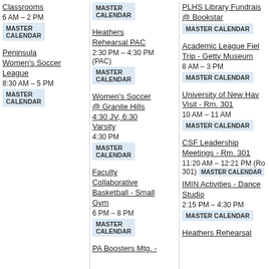Classrooms
6 AM – 2 PM
MASTER CALENDAR
Peninsula Women's Soccer League
8:30 AM – 5 PM
MASTER CALENDAR
MASTER CALENDAR
Heathers Rehearsal PAC
2:30 PM – 4:30 PM (PAC)
MASTER CALENDAR
Women's Soccer @ Granite Hills 4:30 JV, 6:30 Varsity
4:30 PM
MASTER CALENDAR
Faculty Collaborative Basketball - Small Gym
6 PM – 8 PM
MASTER CALENDAR
PA Boosters Mtg. -
PLHS Library Fundrais @ Bookstar
MASTER CALENDAR
Academic League Field Trip - Getty Museum
8 AM – 3 PM
MASTER CALENDAR
University of New Hav Visit - Rm. 301
10 AM – 11 AM
MASTER CALENDAR
CSF Leadership Meetings - Rm. 301
11:20 AM – 12:21 PM (Ro 301)
MASTER CALENDAR
IMIN Activities - Dance Studio
2:15 PM – 4:30 PM
MASTER CALENDAR
Heathers Rehearsal